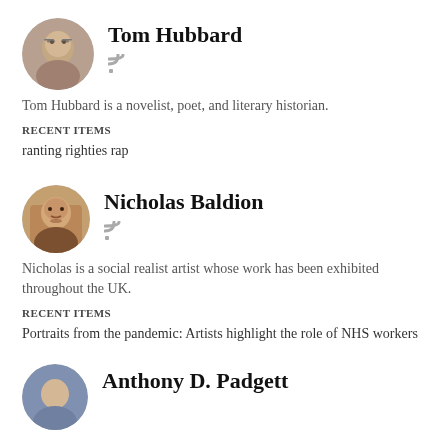[Figure (photo): Circular avatar photo of Tom Hubbard, a man with glasses]
Tom Hubbard
Tom Hubbard is a novelist, poet, and literary historian.
RECENT ITEMS
ranting righties rap
[Figure (photo): Circular avatar photo of Nicholas Baldion, a young man with dark hair and mustache]
Nicholas Baldion
Nicholas is a social realist artist whose work has been exhibited throughout the UK.
RECENT ITEMS
Portraits from the pandemic: Artists highlight the role of NHS workers
[Figure (photo): Circular avatar photo of Anthony D. Padgett, partially visible]
Anthony D. Padgett